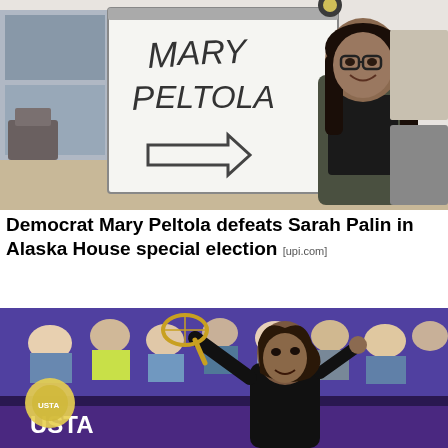[Figure (photo): Mary Peltola standing next to a whiteboard that reads 'MARY PELTOLA' with an arrow pointing right. She is smiling, wearing glasses, a black top and olive jacket, with long dark hair. Office environment in background.]
Democrat Mary Peltola defeats Sarah Palin in Alaska House special election [upi.com]
[Figure (photo): A tennis player (Serena Williams) looking up while playing at a USTA venue, crowd visible in background, wearing a black outfit.]